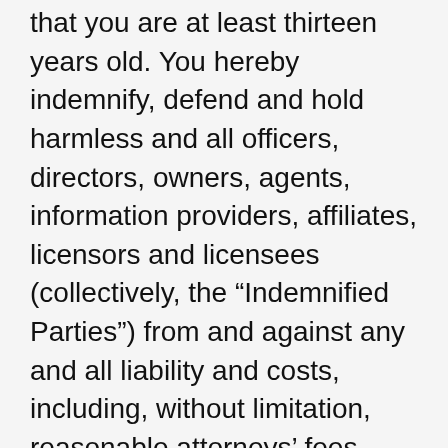that you are at least thirteen years old. You hereby indemnify, defend and hold harmless and all officers, directors, owners, agents, information providers, affiliates, licensors and licensees (collectively, the “Indemnified Parties”) from and against any and all liability and costs, including, without limitation, reasonable attorneys’ fees, incurred by the Indemnified Parties in connection with any claim arising out of any breach by you or any user of your account of these Terms of Service or the foregoing representations, warranties and covenants. You shall cooperate as fully as